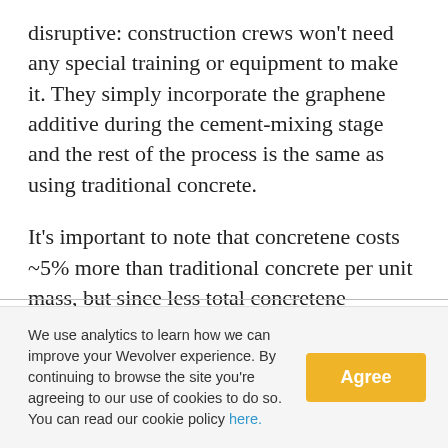disruptive: construction crews won't need any special training or equipment to make it. They simply incorporate the graphene additive during the cement-mixing stage and the rest of the process is the same as using traditional concrete.
It's important to note that concretene costs ~5% more than traditional concrete per unit mass, but since less total concretene material is necessary, the concrete-associated costs of most
We use analytics to learn how we can improve your Wevolver experience. By continuing to browse the site you're agreeing to our use of cookies to do so. You can read our cookie policy here.